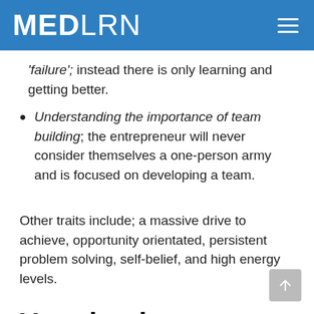MEDLRN
'failure'; instead there is only learning and getting better.
Understanding the importance of team building; the entrepreneur will never consider themselves a one-person army and is focused on developing a team.
Other traits include; a massive drive to achieve, opportunity orientated, persistent problem solving, self-belief, and high energy levels.
Your business